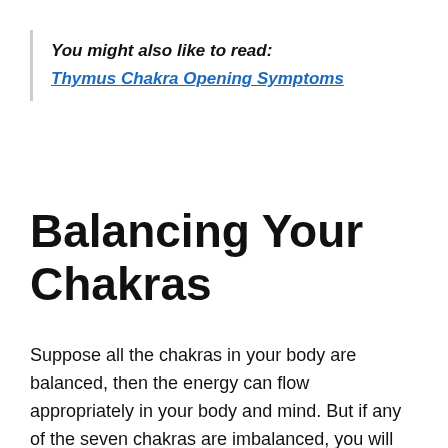You might also like to read: Thymus Chakra Opening Symptoms
Balancing Your Chakras
Suppose all the chakras in your body are balanced, then the energy can flow appropriately in your body and mind. But if any of the seven chakras are imbalanced, you will have physical, mental, or emotional issues.